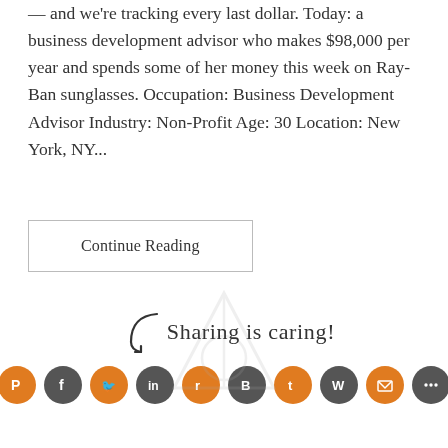— and we're tracking every last dollar. Today: a business development advisor who makes $98,000 per year and spends some of her money this week on Ray-Ban sunglasses. Occupation: Business Development Advisor Industry: Non-Profit Age: 30 Location: New York, NY...
Continue Reading
[Figure (infographic): Sharing is caring! label with arrow and social media share icons (Pinterest, Facebook, Twitter, LinkedIn, Reddit, Blogger, Tumblr, WhatsApp, Email, More) shown as orange and dark grey circles, with a decorative triangle/Deathly Hallows symbol in background]